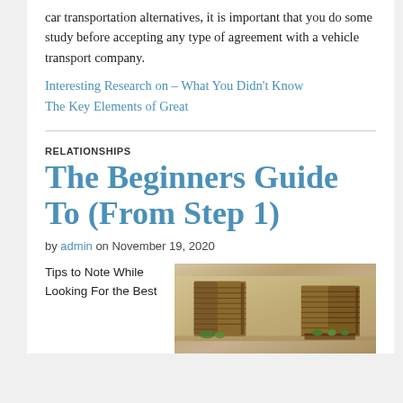car transportation alternatives, it is important that you do some study before accepting any type of agreement with a vehicle transport company.
Interesting Research on – What You Didn't Know
The Key Elements of Great
RELATIONSHIPS
The Beginners Guide To (From Step 1)
by admin on November 19, 2020
Tips to Note While Looking For the Best
[Figure (photo): Photograph of a building exterior with two wooden shuttered windows on a yellow-tan stucco wall, with plants visible]